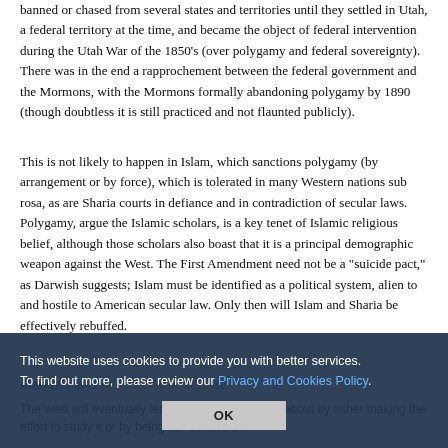banned or chased from several states and territories until they settled in Utah, a federal territory at the time, and became the object of federal intervention during the Utah War of the 1850's (over polygamy and federal sovereignty). There was in the end a rapprochement between the federal government and the Mormons, with the Mormons formally abandoning polygamy by 1890 (though doubtless it is still practiced and not flaunted publicly).
This is not likely to happen in Islam, which sanctions polygamy (by arrangement or by force), which is tolerated in many Western nations sub rosa, as are Sharia courts in defiance and in contradiction of secular laws. Polygamy, argue the Islamic scholars, is a key tenet of Islamic religious belief, although those scholars also boast that it is a principal demographic weapon against the West. The First Amendment need not be a "suicide pact," as Darwish suggests; Islam must be identified as a political system, alien to and hostile to American secular law. Only then will Islam and Sharia be effectively rebuffed.
This website uses cookies to provide you with better services. To find out more, please review our Privacy and Cookies Policy.
Alan Williams • Feb 12, 2017 at 10:30
The west will eventually learn what Islam is really about by either making the effort to study it or by being surrounded b...